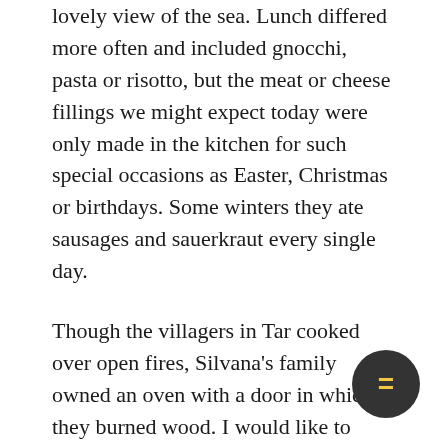lovely view of the sea. Lunch differed more often and included gnocchi, pasta or risotto, but the meat or cheese fillings we might expect today were only made in the kitchen for such special occasions as Easter, Christmas or birthdays. Some winters they ate sausages and sauerkraut every single day.
Though the villagers in Tar cooked over open fires, Silvana's family owned an oven with a door in which they burned wood. I would like to know where they got the wood, because the most striking difference between photographs of Istria in the 1920's and those of today is the deforestation. A million tree trunks supported Venice, Istrian wood was loaded onto ships in nearby Novigrad to sail across the gulf to